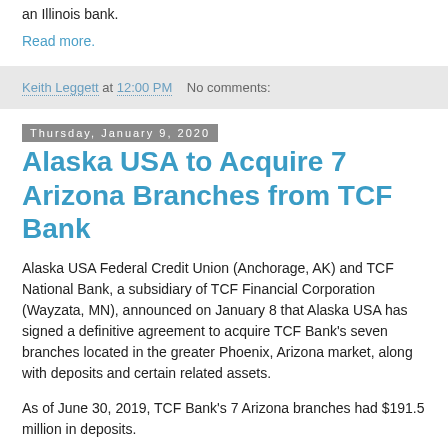an Illinois bank.
Read more.
Keith Leggett at 12:00 PM   No comments:
Thursday, January 9, 2020
Alaska USA to Acquire 7 Arizona Branches from TCF Bank
Alaska USA Federal Credit Union (Anchorage, AK) and TCF National Bank, a subsidiary of TCF Financial Corporation (Wayzata, MN), announced on January 8 that Alaska USA has signed a definitive agreement to acquire TCF Bank's seven branches located in the greater Phoenix, Arizona market, along with deposits and certain related assets.
As of June 30, 2019, TCF Bank's 7 Arizona branches had $191.5 million in deposits.